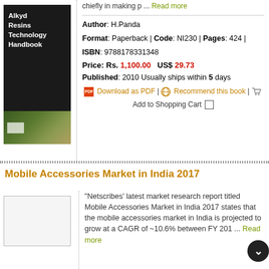[Figure (photo): Book cover for Alkyd Resins Technology Handbook, dark background with green/brown plant imagery at bottom]
chiefly in making p ... Read more
Author: H.Panda
Format: Paperback | Code: NI230 | Pages: 424 |
ISBN: 9788178331348
Price: Rs. 1,100.00   US$ 29.73
Published: 2010 Usually ships within 5 days
Download as PDF | Recommend this book | Add to Shopping Cart
Mobile Accessories Market in India 2017
"Netscribes' latest market research report titled Mobile Accessories Market in India 2017 states that the mobile accessories market in India is projected to grow at a CAGR of ~10.6% between FY 201 ... Read more